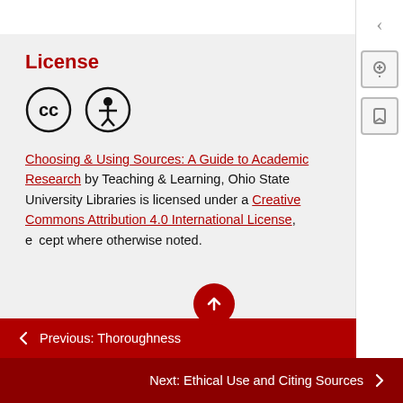License
[Figure (illustration): Creative Commons CC and Attribution (BY) license icons - two circular icons]
Choosing & Using Sources: A Guide to Academic Research by Teaching & Learning, Ohio State University Libraries is licensed under a Creative Commons Attribution 4.0 International License, except where otherwise noted.
← Previous: Thoroughness
Next: Ethical Use and Citing Sources →